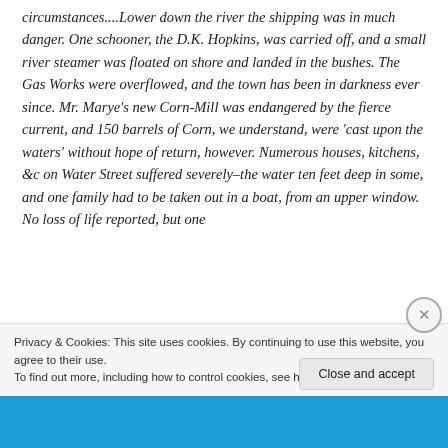circumstances....Lower down the river the shipping was in much danger.  One schooner, the D.K. Hopkins, was carried off, and a small river steamer was floated on shore and landed in the bushes.  The Gas Works were overflowed, and the town has been in darkness ever since.  Mr. Marye’s new Corn-Mill was endangered by the fierce current, and 150 barrels of Corn, we understand, were ‘cast upon the waters’ without hope of return, however.  Numerous houses, kitchens, &c on Water Street suffered severely–the water ten feet deep in some, and one family had to be taken out in a boat, from an upper window.  No loss of life reported, but one
Privacy & Cookies: This site uses cookies. By continuing to use this website, you agree to their use.
To find out more, including how to control cookies, see here: Cookie Policy
Close and accept